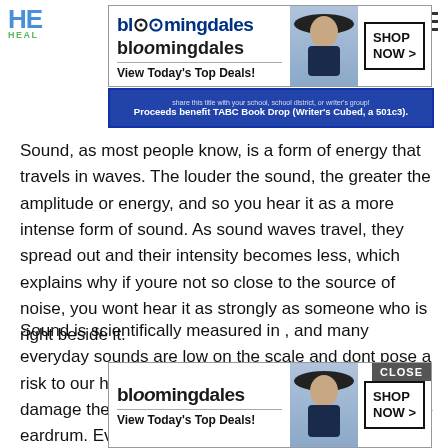HE... HEAL...
[Figure (other): Bloomingdale's advertisement banner: 'View Today's Top Deals!' with SHOP NOW > button and woman in hat photo]
[Figure (other): Book drop promotional banner: 'Proceeds benefit TABC Book Drop (Writer's Cubed, a 501c3).']
Sound, as most people know, is a form of energy that travels in waves. The louder the sound, the greater the amplitude or energy, and so you hear it as a more intense form of sound. As sound waves travel, they spread out and their intensity becomes less, which explains why if youre not so close to the source of noise, you wont hear it as strongly as someone who is right beside it.
Sound is scientifically measured in , and many everyday sounds are low on the scale and dont pose a risk to our hearing, while others are high and can damage the delicate structures of the ear, including the eardrum. Ev...s of low-de... you can ha...
[Figure (other): Bloomingdale's advertisement banner at bottom: 'View Today's Top Deals!' with SHOP NOW > button, woman in hat photo, and CLOSE button]